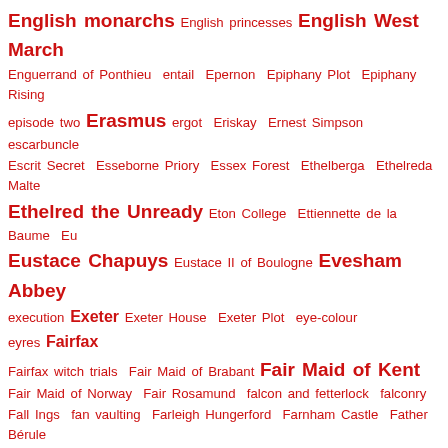English monarchs English princesses English West March Enguerrand of Ponthieu entail Epernon Epiphany Plot Epiphany Rising episode two Erasmus ergot Eriskay Ernest Simpson escarbuncle Escrit Secret Esseborne Priory Essex Forest Ethelberga Ethelreda Malte Ethelred the Unready Eton College Ettiennette de la Baume Eu Eustace Chapuys Eustace II of Boulogne Evesham Abbey execution Exeter Exeter House Exeter Plot eye-colour eyres Fairfax Fairfax witch trials Fair Maid of Brabant Fair Maid of Kent Fair Maid of Norway Fair Rosamund falcon and fetterlock falconry Fall Ings fan vaulting Farleigh Hungerford Farnham Castle Father Bérule Father Henry Garnet Father Sancy Faversham Abbey feast days Feast of the Purification of Mary Feast of the Swans Felicia Hemens Felton femme sole Fenny Bentley Ferdinado Fairfax Ferdinand and Isabella Ferdinand II Ferdinando Fairfax Ferdinand of Aragon Ferdinando Stanley Fergus of Galloway Ferniehurst Kerrs Ferrybridge festivals Festive foods feudal custody feudalism feudal pyramid fief field Field of the Cloth of Gold Fifth Baron Greystoke Fifth Duke of Devonshire Fifth Earl of Derby Fifth Earl of Northumberland Fifth Earl of Surrey Fifth Lord Maxwell